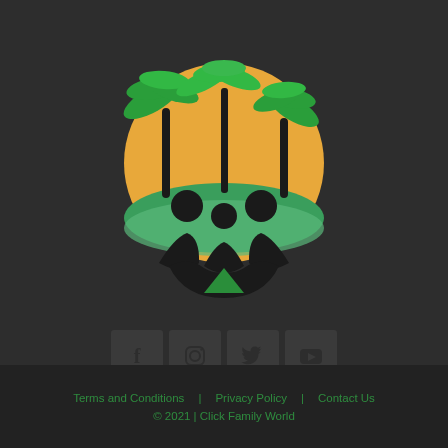[Figure (logo): Click Family World logo: circular scene with palm trees and sunset, silhouettes of family figures, with script text 'Click FamilyWorld' in green below]
[Figure (infographic): Four social media icon buttons in dark boxes: Facebook (f), Instagram, Twitter, YouTube]
Terms and Conditions   Privacy Policy   Contact Us
© 2021 | Click Family World